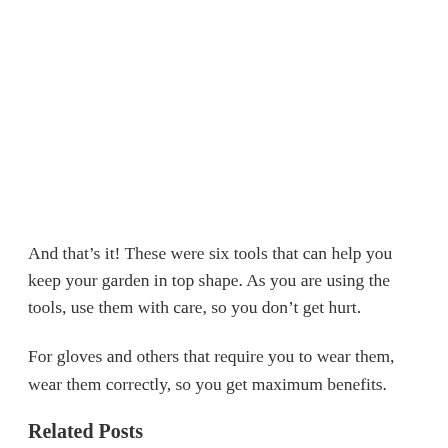And that’s it! These were six tools that can help you keep your garden in top shape. As you are using the tools, use them with care, so you don’t get hurt.
For gloves and others that require you to wear them, wear them correctly, so you get maximum benefits.
Related Posts